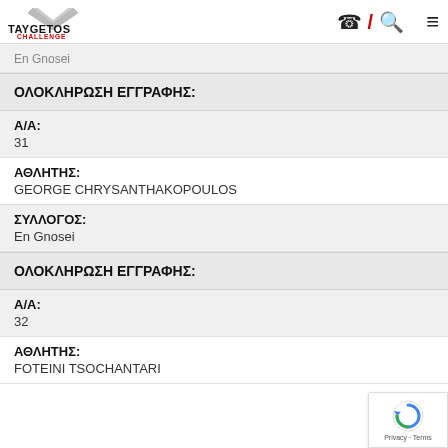TAYGETOS CHALLENGE
En Gnosei
ΟΛΟΚΛΗΡΩΣΗ ΕΓΓΡΑΦΗΣ:
Α/Α: 31
ΑΘΛΗΤΗΣ: GEORGE CHRYSANTHAKOPOULOS
ΣΥΛΛΟΓΟΣ: En Gnosei
ΟΛΟΚΛΗΡΩΣΗ ΕΓΓΡΑΦΗΣ:
Α/Α: 32
ΑΘΛΗΤΗΣ: FOTEINI TSOCHANTARI